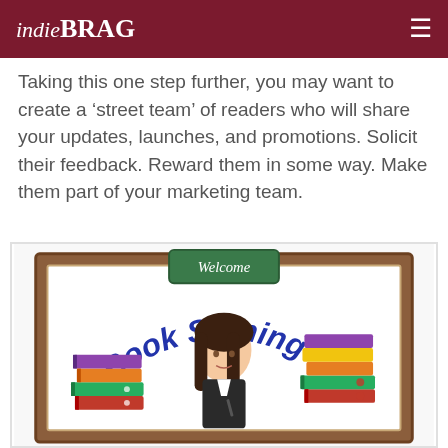indieBRAG
Taking this one step further, you may want to create a ‘street team’ of readers who will share your updates, launches, and promotions. Solicit their feedback. Reward them in some way. Make them part of your marketing team.
[Figure (illustration): Book signing illustration showing a cartoon woman with dark hair behind a whiteboard/chalkboard that reads 'Welcome' and 'Book Signing' in blue letters, with stacks of colorful books on either side.]